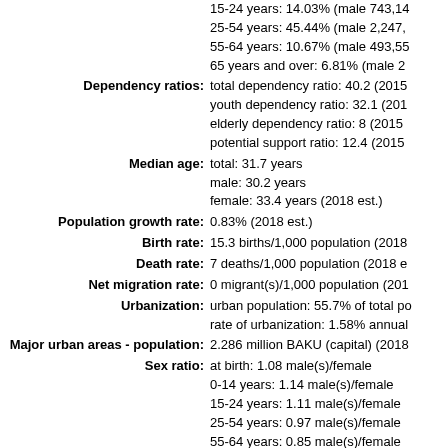15-24 years: 14.03% (male 743,14...
25-54 years: 45.44% (male 2,247,...
55-64 years: 10.67% (male 493,55...
65 years and over: 6.81% (male 2...
Dependency ratios: total dependency ratio: 40.2 (2015...; youth dependency ratio: 32.1 (201...; elderly dependency ratio: 8 (2015...; potential support ratio: 12.4 (2015...
Median age: total: 31.7 years; male: 30.2 years; female: 33.4 years (2018 est.)
Population growth rate: 0.83% (2018 est.)
Birth rate: 15.3 births/1,000 population (2018...
Death rate: 7 deaths/1,000 population (2018 e...
Net migration rate: 0 migrant(s)/1,000 population (201...
Urbanization: urban population: 55.7% of total po...; rate of urbanization: 1.58% annual...
Major urban areas - population: 2.286 million BAKU (capital) (2018...
Sex ratio: at birth: 1.08 male(s)/female; 0-14 years: 1.14 male(s)/female; 15-24 years: 1.11 male(s)/female; 25-54 years: 0.97 male(s)/female; 55-64 years: 0.85 male(s)/female; 65 years and over: 0.62 male(s)/fe...; total population: 0.98 male(s)/fema...
Mother's mean age at first birth: 23...
Maternal mortality rate: 25 deaths/100,000 live births (20...